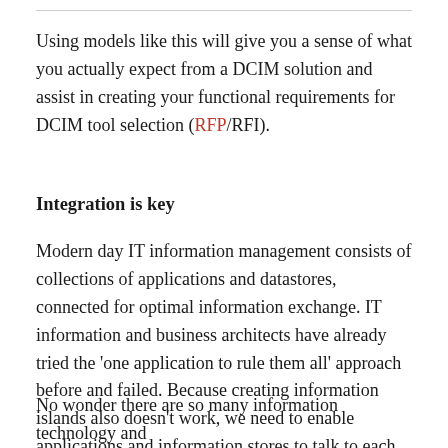Using models like this will give you a sense of what you actually expect from a DCIM solution and assist in creating your functional requirements for DCIM tool selection (RFP/RFI).
Integration is key
Modern day IT information management consists of collections of applications and datastores, connected for optimal information exchange. IT information and business architects have already tried the 'one application to rule them all' approach before and failed. Because creating information islands also doesn't work, we need to enable applications and information stores to talk to each other.
No wonder there are so many information technology and